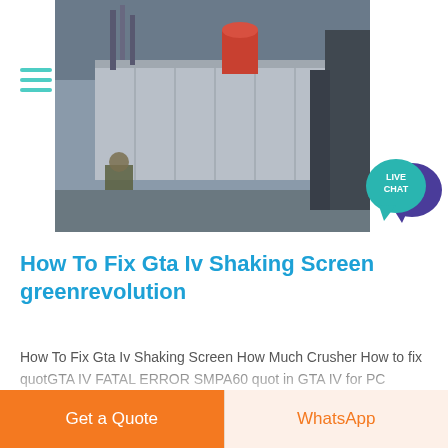[Figure (photo): Industrial machinery photo showing equipment, pipes, and metal structures at a construction or industrial site]
How To Fix Gta Iv Shaking Screen greenrevolution
How To Fix Gta Iv Shaking Screen How Much Crusher How to fix quotGTA IV FATAL ERROR SMPA60 quot in GTA IV for PC Issues with GTA IV showing video cards with over 2GB as under spec Screen flashes pauses and hiccups when pressing keys on the keyboard in GTAIV with Windows 7
Get a Quote
WhatsApp